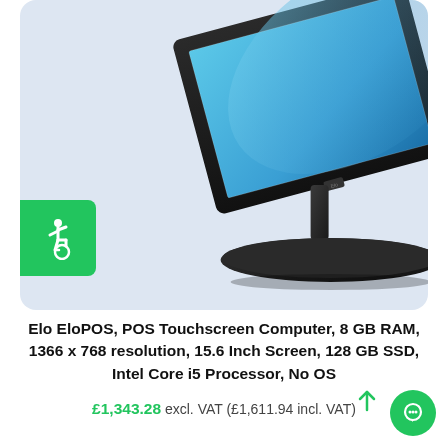[Figure (photo): Elo EloPOS touchscreen computer with black display on pedestal stand, shown on light blue/grey background. A green accessibility (wheelchair) badge is shown on the left side of the image.]
Elo EloPOS, POS Touchscreen Computer, 8 GB RAM, 1366 x 768 resolution, 15.6 Inch Screen, 128 GB SSD, Intel Core i5 Processor, No OS
£1,343.28 excl. VAT (£1,611.94 incl. VAT)